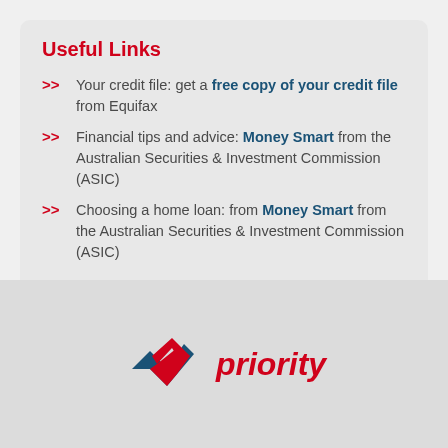Useful Links
Your credit file: get a free copy of your credit file from Equifax
Financial tips and advice: Money Smart from the Australian Securities & Investment Commission (ASIC)
Choosing a home loan: from Money Smart from the Australian Securities & Investment Commission (ASIC)
[Figure (logo): Priority logo with blue and red checkmark and italic red 'priority' text]